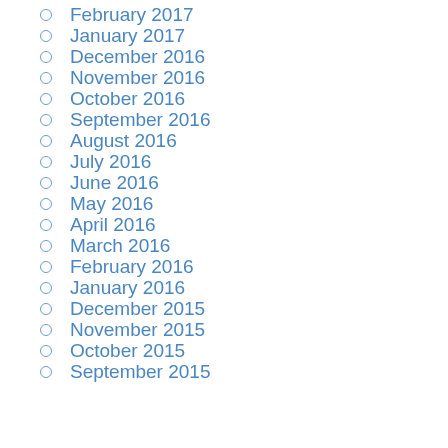February 2017
January 2017
December 2016
November 2016
October 2016
September 2016
August 2016
July 2016
June 2016
May 2016
April 2016
March 2016
February 2016
January 2016
December 2015
November 2015
October 2015
September 2015